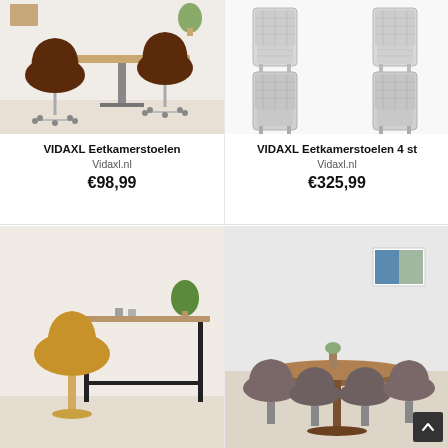[Figure (photo): Two brown upholstered swivel chairs on wheels next to a table, product photo on light background]
VIDAXL Eetkamerstoelen
Vidaxl.nl
€98,99
[Figure (photo): Four white wicker/rattan high-back dining chairs arranged in 2x2 grid, product photo on white background]
VIDAXL Eetkamerstoelen 4 st
Vidaxl.nl
€325,99
[Figure (photo): A golden/yellow bar stool with curved seat next to a table with plant, product photo]
[Figure (photo): Dining room scene with round wooden table and four grey/brown upholstered chairs, painting on wall]